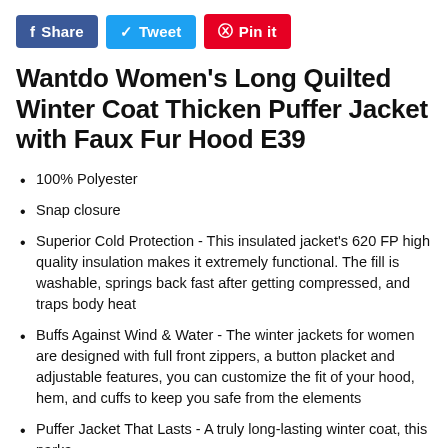[Figure (other): Social share buttons: Facebook Share (blue), Tweet (light blue), Pin it (red)]
Wantdo Women's Long Quilted Winter Coat Thicken Puffer Jacket with Faux Fur Hood E39
100% Polyester
Snap closure
Superior Cold Protection - This insulated jacket's 620 FP high quality insulation makes it extremely functional. The fill is washable, springs back fast after getting compressed, and traps body heat
Buffs Against Wind & Water - The winter jackets for women are designed with full front zippers, a button placket and adjustable features, you can customize the fit of your hood, hem, and cuffs to keep you safe from the elements
Puffer Jacket That Lasts - A truly long-lasting winter coat, this parka